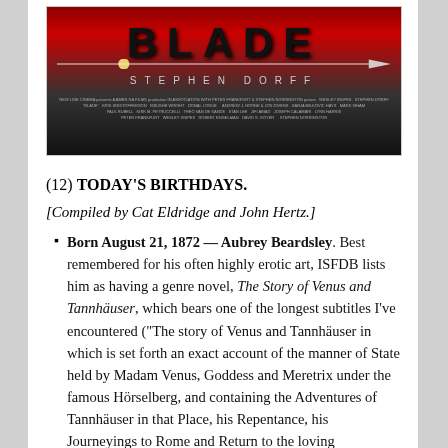[Figure (photo): Movie poster for 'Blade' featuring the title text, a sword, the name Stephen Dorff, and New Line Cinema production credits on a red and dark background.]
(12) TODAY'S BIRTHDAYS.
[Compiled by Cat Eldridge and John Hertz.]
Born August 21, 1872 — Aubrey Beardsley. Best remembered for his often highly erotic art, ISFDB lists him as having a genre novel, The Story of Venus and Tannhäuser, which bears one of the longest subtitles I've encountered ("The story of Venus and Tannhäuser in which is set forth an exact account of the manner of State held by Madam Venus, Goddess and Meretrix under the famous Hörselberg, and containing the Adventures of Tannhäuser in that Place, his Repentance, his Journeyings to Rome and Return to the loving mountain"